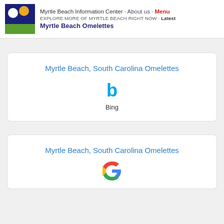Myrtle Beach Information Center · About us · Menu
EXPLORE MORE OF MYRTLE BEACH RIGHT NOW · Latest
Myrtle Beach Omelettes
Myrtle Beach, South Carolina Omelettes
Bing
Myrtle Beach, South Carolina Omelettes
Google